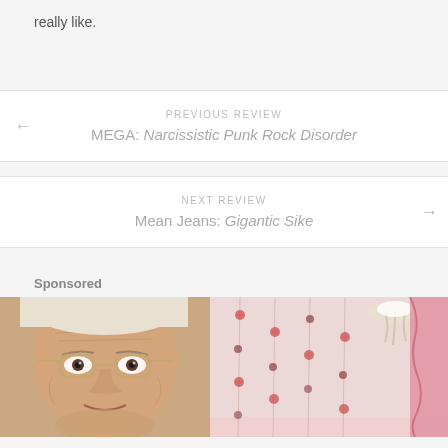really like.
PREVIOUS REVIEW
MEGA: Narcissistic Punk Rock Disorder
NEXT REVIEW
Mean Jeans: Gigantic Sike
Sponsored
[Figure (photo): Two side-by-side advertisement images: left shows close-up of elderly woman's face with glasses, right shows a pink floral curtain/room decoration with chandelier]